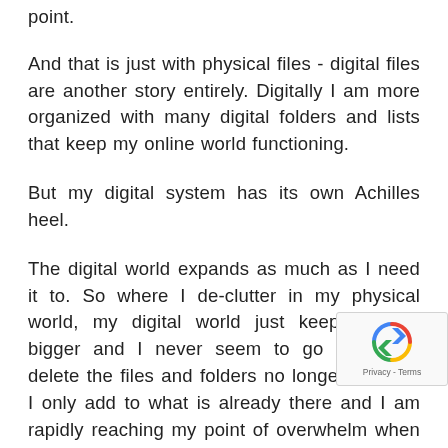point.
And that is just with physical files - digital files are another story entirely. Digitally I am more organized with many digital folders and lists that keep my online world functioning.
But my digital system has its own Achilles heel.
The digital world expands as much as I need it to. So where I de-clutter in my physical world, my digital world just keeps getting bigger and I never seem to go back and delete the files and folders no longer needed. I only add to what is already there and I am rapidly reaching my point of overwhelm when I have to do endless scrolling just to get to a folder I need.
De-cluttering your physical and digital wo...